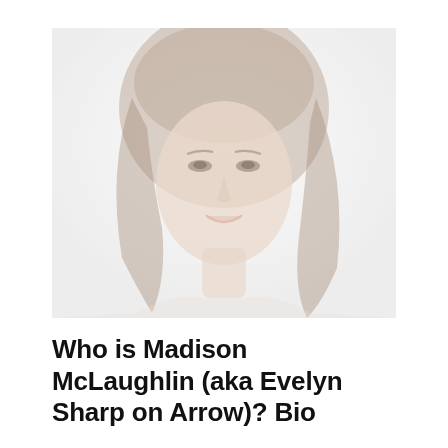[Figure (photo): Portrait photo of Madison McLaughlin, a young woman with long brown hair, smiling, against a light/white background. The image has a faded, high-key look.]
Who is Madison McLaughlin (aka Evelyn Sharp on Arrow)? Bio